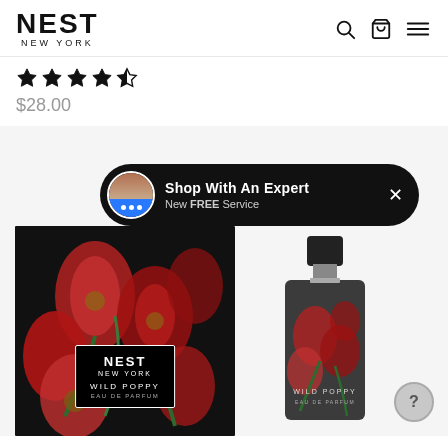[Figure (logo): NEST New York logo in bold black text]
[Figure (other): Navigation icons: search, shopping bag, hamburger menu]
[Figure (other): Star rating: 4 out of 5 stars (filled, filled, filled, filled, half)]
$28.00
[Figure (screenshot): Product page showing NEST Wild Poppy Eau de Parfum box and bottle on light gray background, with a 'Shop With An Expert - New FREE Service' popup overlay featuring a chat advisor avatar]
Shop With An Expert
New FREE Service